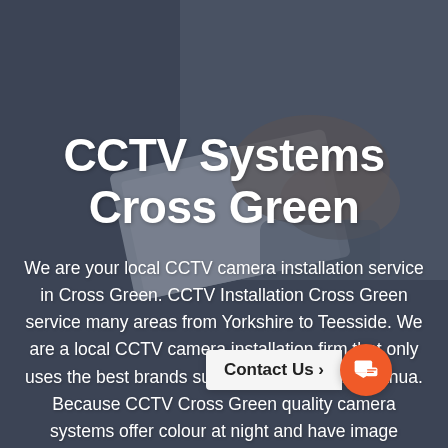[Figure (photo): Background photo of hands working at a laptop/keyboard, overlaid with a dark blue-grey semi-transparent overlay. The image occupies the full page.]
CCTV Systems Cross Green
We are your local CCTV camera installation service in Cross Green. CCTV Installation Cross Green service many areas from Yorkshire to Teesside. We are a local CCTV camera installation firm that only uses the best brands such as Hikvision and Dahua. Because CCTV Cross Green quality camera systems offer colour at night and have image quality.